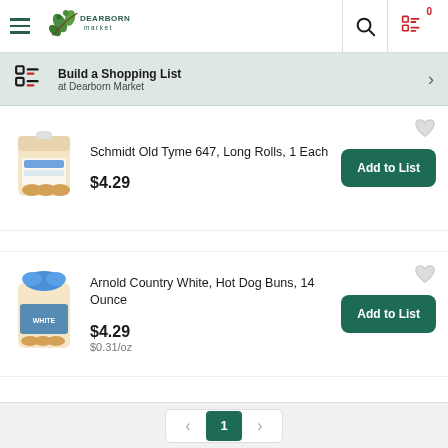Dearborn Market
Build a Shopping List at Dearborn Market
Schmidt Old Tyme 647, Long Rolls, 1 Each
$4.29
Add to List
Arnold Country White, Hot Dog Buns, 14 Ounce
$4.29
$0.31/oz
Add to List
1